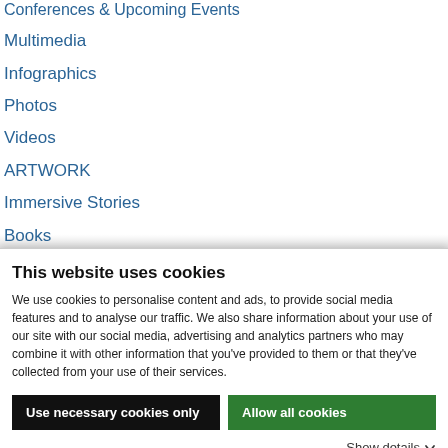Conferences & Upcoming Events
Multimedia
Infographics
Photos
Videos
ARTWORK
Immersive Stories
Books
This website uses cookies
We use cookies to personalise content and ads, to provide social media features and to analyse our traffic. We also share information about your use of our site with our social media, advertising and analytics partners who may combine it with other information that you've provided to them or that they've collected from your use of their services.
Use necessary cookies only
Allow all cookies
Show details